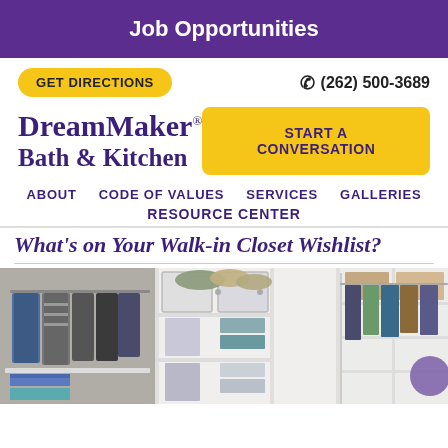Job Opportunities
GET DIRECTIONS
(262) 500-3689
DreamMaker Bath & Kitchen
START A CONVERSATION
ABOUT   CODE OF VALUES   SERVICES   GALLERIES
RESOURCE CENTER
What's on Your Walk-in Closet Wishlist?
[Figure (photo): Walk-in closet with white shelving units, clothes hanging on racks, folded items, and storage cubby compartments]